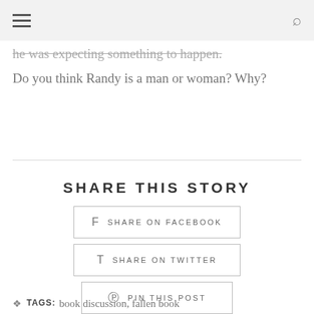he was expecting something to happen.
Do you think Randy is a man or woman? Why?
SHARE THIS STORY
SHARE ON FACEBOOK
SHARE ON TWITTER
PIN THIS POST
TAGS: book discussion, fallen book